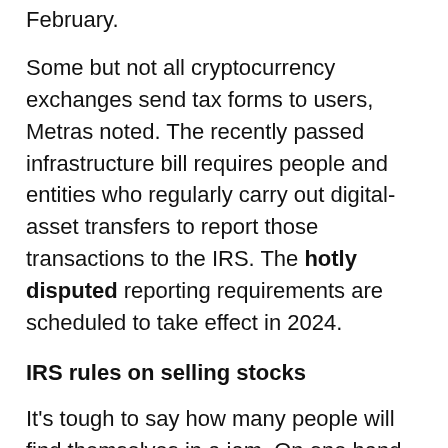February.
Some but not all cryptocurrency exchanges send tax forms to users, Metras noted. The recently passed infrastructure bill requires people and entities who regularly carry out digital-asset transfers to report those transactions to the IRS. The hotly disputed reporting requirements are scheduled to take effect in 2024.
IRS rules on selling stocks
It’s tough to say how many people will find themselves in a jam. On one hand, with the pandemic giving rise to the “retail bro,” 10 million new brokerage accounts were opened in 2020, according to J.D. Power, a consumer analytics firm.